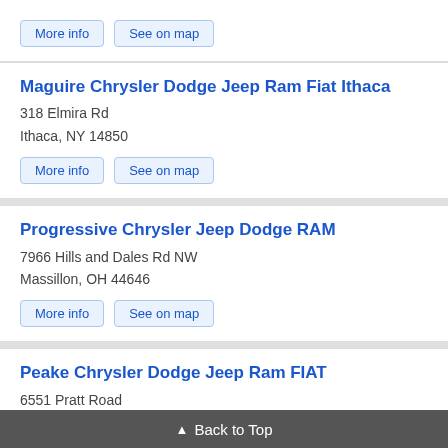More info | See on map
Maguire Chrysler Dodge Jeep Ram Fiat Ithaca
318 Elmira Rd
Ithaca, NY 14850
More info | See on map
Progressive Chrysler Jeep Dodge RAM
7966 Hills and Dales Rd NW
Massillon, OH 44646
More info | See on map
Peake Chrysler Dodge Jeep Ram FIAT
6551 Pratt Road
Williamson, NY 14589
More info | See on map
▲ Back to Top